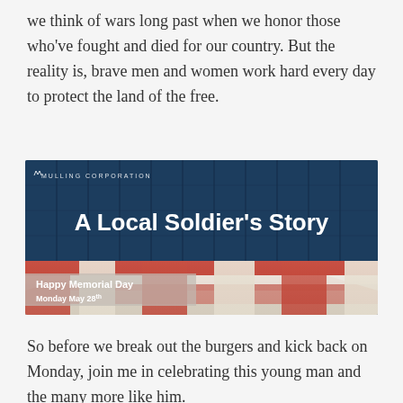we think of wars long past when we honor those who've fought and died for our country. But the reality is, brave men and women work hard every day to protect the land of the free.
[Figure (illustration): A promotional banner image for Mulling Corporation titled 'A Local Soldier's Story'. The background shows blue wooden planks. The bottom portion features an American flag with red and white stripes. White bold text reads 'A Local Soldier's Story'. A small Mulling Corporation logo is in the top left. A semi-transparent box in the lower left reads 'Happy Memorial Day Monday May 28th'.]
So before we break out the burgers and kick back on Monday, join me in celebrating this young man and the many more like him.